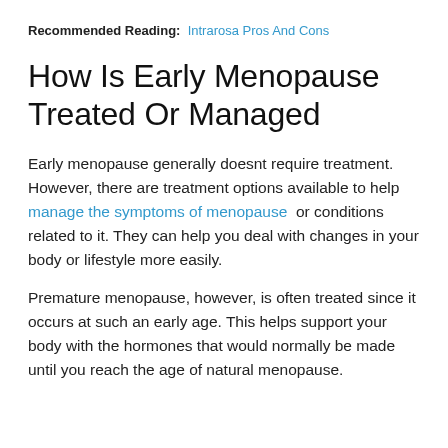Recommended Reading: Intrarosa Pros And Cons
How Is Early Menopause Treated Or Managed
Early menopause generally doesnt require treatment. However, there are treatment options available to help manage the symptoms of menopause or conditions related to it. They can help you deal with changes in your body or lifestyle more easily.
Premature menopause, however, is often treated since it occurs at such an early age. This helps support your body with the hormones that would normally be made until you reach the age of natural menopause.